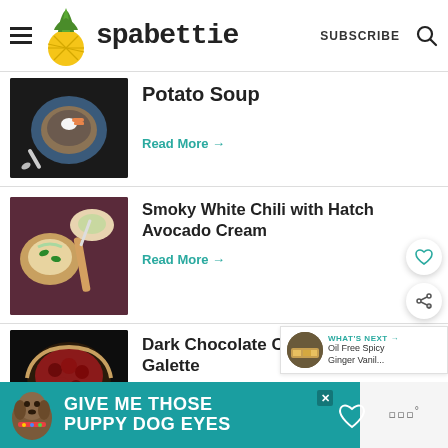spabettie — SUBSCRIBE
[Figure (photo): Bowl of potato soup with toppings including carrots and sour cream, viewed from above]
Potato Soup
Read More →
[Figure (photo): Overhead view of white chili with jalapeños, avocado cream, and breadsticks on a dark mat]
Smoky White Chili with Hatch Avocado Cream
Read More →
[Figure (photo): Dark chocolate cherry galette pastry with cherries visible]
Dark Chocolate Cherry Galette
WHAT'S NEXT → Oil Free Spicy Ginger Vanil...
GIVE ME THOSE PUPPY DOG EYES